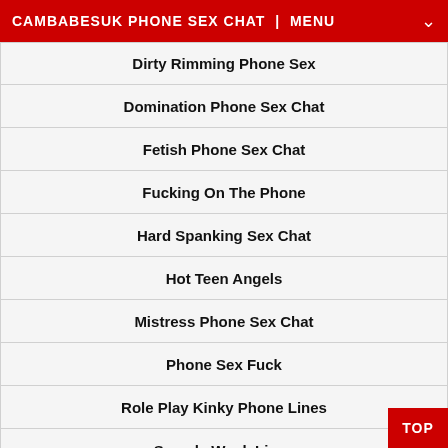CAMBABESUK PHONE SEX CHAT | MENU
Dirty Rimming Phone Sex
Domination Phone Sex Chat
Fetish Phone Sex Chat
Fucking On The Phone
Hard Spanking Sex Chat
Hot Teen Angels
Mistress Phone Sex Chat
Phone Sex Fuck
Role Play Kinky Phone Lines
Speedy Wank Lines
Submissive Phone Sex Chat